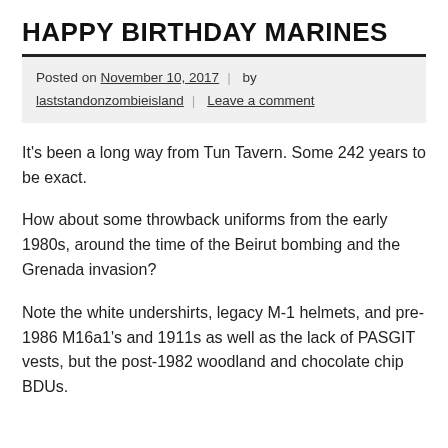HAPPY BIRTHDAY MARINES
Posted on November 10, 2017 | by laststandonzombieisland | Leave a comment
It's been a long way from Tun Tavern. Some 242 years to be exact.
How about some throwback uniforms from the early 1980s, around the time of the Beirut bombing and the Grenada invasion?
Note the white undershirts, legacy M-1 helmets, and pre-1986 M16a1's and 1911s as well as the lack of PASGIT vests, but the post-1982 woodland and chocolate chip BDUs.